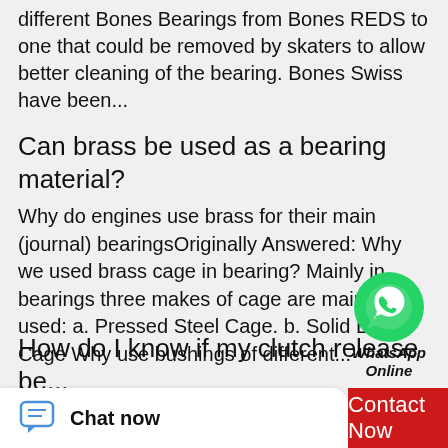different Bones Bearings from Bones REDS to one that could be removed by skaters to allow better cleaning of the bearing. Bones Swiss have been...
Can brass be used as a bearing material?
Why do engines use brass for their main (journal) bearingsOriginally Answered: Why we used brass cage in bearing? Mainly in bearings three makes of cage are mainly used: a. Pressed Steel Cage. b. Solid Brass Cage Why use bushings of different...
[Figure (illustration): WhatsApp Online chat bubble icon with green WhatsApp logo and text 'WhatsApp Online' in italic bold]
How do I know if my clutch release be...
Symptoms of a Bad Clutch - AxleAddict - A community of carSo you can tell whether the release bearing or the pilot bearing is the source of the noise. A bad release Symptoms of a Bad Throwout Bearing &
Chat now   Contact Now